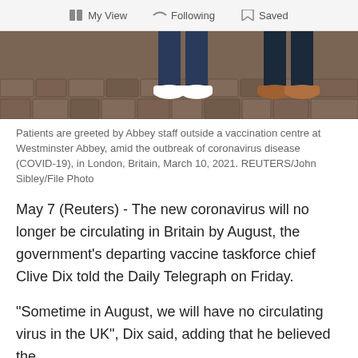My View   Following   Saved
[Figure (photo): Legs and feet of people standing on cobblestone pavement outside a vaccination centre at Westminster Abbey]
Patients are greeted by Abbey staff outside a vaccination centre at Westminster Abbey, amid the outbreak of coronavirus disease (COVID-19), in London, Britain, March 10, 2021. REUTERS/John Sibley/File Photo
May 7 (Reuters) - The new coronavirus will no longer be circulating in Britain by August, the government's departing vaccine taskforce chief Clive Dix told the Daily Telegraph on Friday.
"Sometime in August, we will have no circulating virus in the UK", Dix said, adding that he believed the